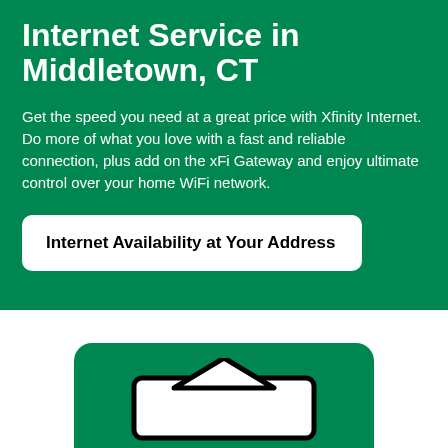Internet Service in Middletown, CT
Get the speed you need at a great price with Xfinity Internet. Do more of what you love with a fast and reliable connection, plus add on the xFi Gateway and enjoy ultimate control over your home WiFi network.
Internet Availability at Your Address
[Figure (illustration): Green rounded card with a white arrow/router icon at the bottom of the page]